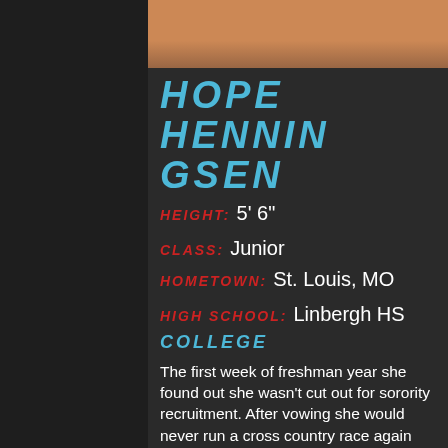[Figure (photo): Photo of Hope Henningsen wearing an orange shirt, shown from shoulders up, dark hair]
HOPE HENNINGSEN
HEIGHT: 5' 6"
CLASS: Junior
HOMETOWN: St. Louis, MO
HIGH SCHOOL: Linbergh HS
COLLEGE
The first week of freshman year she found out she wasn't cut out for sorority recruitment. After vowing she would never run a cross country race again she joined KU running club in a last ditch effort to make friends. The club has taken her to Arkansas, Illinois, and Legends